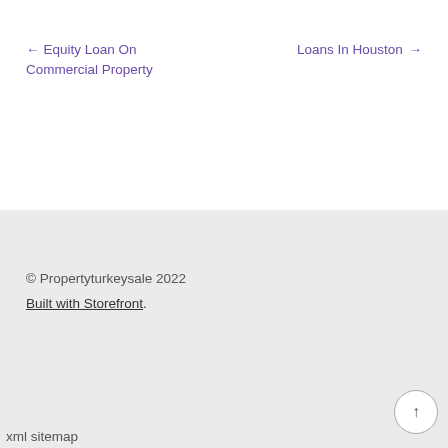← Equity Loan On Commercial Property
Loans In Houston →
© Propertyturkeysale 2022
Built with Storefront.
xml sitemap